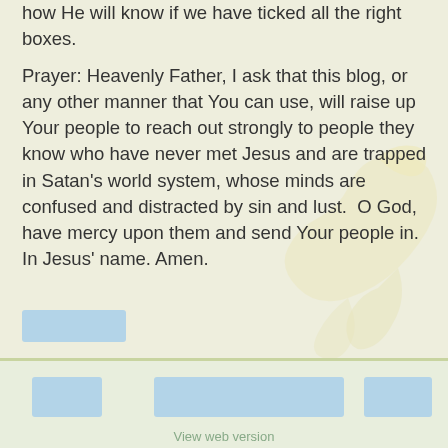how He will know if we have ticked all the right boxes.
Prayer: Heavenly Father, I ask that this blog, or any other manner that You can use, will raise up Your people to reach out strongly to people they know who have never met Jesus and are trapped in Satan's world system, whose minds are confused and distracted by sin and lust.  O God, have mercy upon them and send Your people in. In Jesus' name. Amen.
View web version